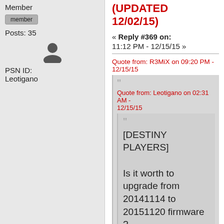Member
member
Posts: 35
[Figure (illustration): User avatar silhouette icon]
PSN ID:
Leotigano
(UPDATED 12/02/15)
« Reply #369 on: 11:12 PM - 12/15/15 »
Quote from: R3MiX on 09:20 PM - 12/15/15
Quote from: Leotigano on 02:31 AM - 12/15/15
[DESTINY PLAYERS]

Is it worth to upgrade from 20141114 to 20151120 firmware ?

I only play destiny on my Xim4 (ps4) and have no problems so